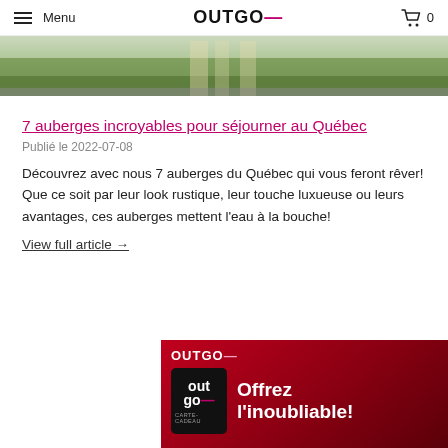Menu   OUTGO—   0
[Figure (photo): Landscape photo showing a green field with a pathway, natural outdoor scenery]
7 auberges incroyables pour séjourner au Québec
Publié le 2022-07-08
Découvrez avec nous 7 auberges du Québec qui vous feront rêver! Que ce soit par leur look rustique, leur touche luxueuse ou leurs avantages, ces auberges mettent l'eau à la bouche!
View full article →
[Figure (illustration): OUTGO advertisement banner with red gradient background showing OUTGO logo and gift card image with text 'Offrez l'inoubliable!']